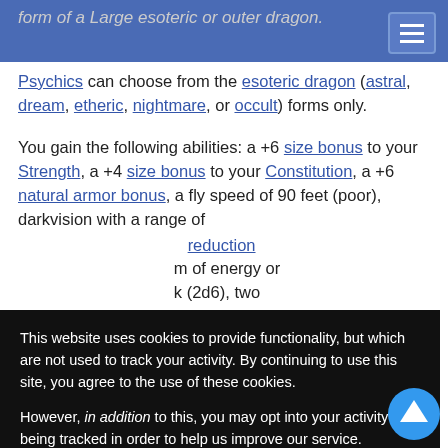form of a Large esoteric or outer dragon.
Psychics can choose from the esoteric dragon (astral, dream, etheric, nightmare, or occult) forms only.
You gain the following abilities: a +6 size bonus to your Strength, a +4 size bonus to your Constitution, a +6 natural armor bonus, a fly speed of 90 feet (poor), darkvision with a range of ... reduction ... m of energy or ... k (2d6), two ... k (1d8), and ... weapons deal ... d otherwise ... e normal ... ease to 80- ... -foot cones.
This website uses cookies to provide functionality, but which are not used to track your activity. By continuing to use this site, you agree to the use of these cookies.

However, in addition to this, you may opt into your activity being tracked in order to help us improve our service.

For more information, please click here
OK | No, thank you